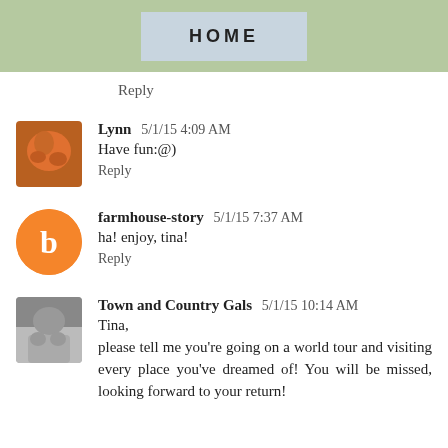HOME
Reply
Lynn  5/1/15 4:09 AM
Have fun:@)
Reply
farmhouse-story  5/1/15 7:37 AM
ha! enjoy, tina!
Reply
Town and Country Gals  5/1/15 10:14 AM
Tina,
please tell me you're going on a world tour and visiting every place you've dreamed of! You will be missed, looking forward to your return!